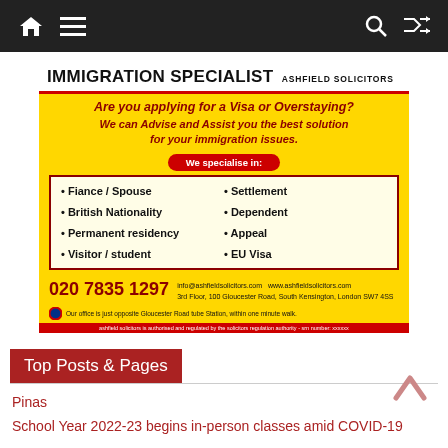Navigation bar with home, menu, search, and shuffle icons
[Figure (infographic): Advertisement for Ashfield Solicitors immigration specialist services. Yellow background with red accents. Services listed: Fiance/Spouse, British Nationality, Permanent residency, Visitor/student, Settlement, Dependent, Appeal, EU Visa. Phone: 020 7835 1297. info@ashfieldsolicitors.com www.ashfieldsolicitors.com 3rd Floor, 100 Gloucester Road, South Kensington, London SW7 4SS]
Top Posts & Pages
Pinas
School Year 2022-23 begins in-person classes amid COVID-19